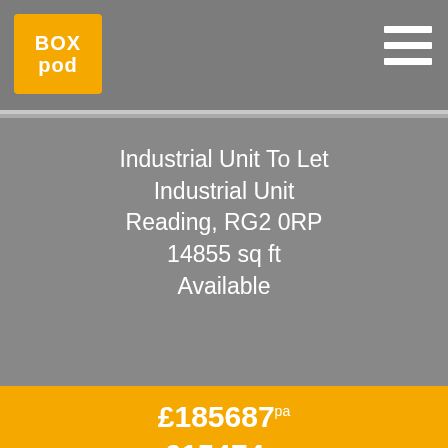[Figure (logo): BoxPod logo — orange square with white BOX POD text]
[Figure (other): Hamburger menu icon (three white horizontal lines) in top right]
Industrial Unit To Let
Industrial Unit
Reading, RG2 0RP
14855 sq ft
Available
£185687pa
£15474pm
More Details
Industrial Unit To Let
Industrial Unit